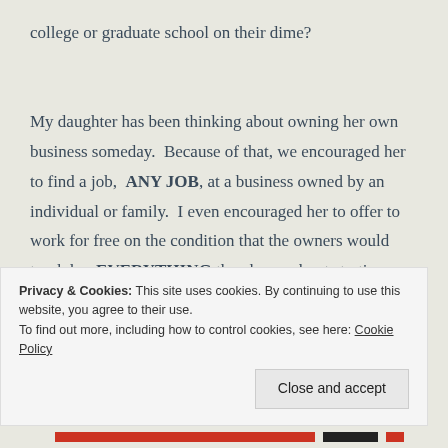college or graduate school on their dime?

My daughter has been thinking about owning her own business someday.  Because of that, we encouraged her to find a job,  ANY JOB, at a business owned by an individual or family.  I even encouraged her to offer to work for free on the condition that the owners would teach her EVERYTHING they know about starting, managing, and
Privacy & Cookies: This site uses cookies. By continuing to use this website, you agree to their use.
To find out more, including how to control cookies, see here: Cookie Policy
Close and accept